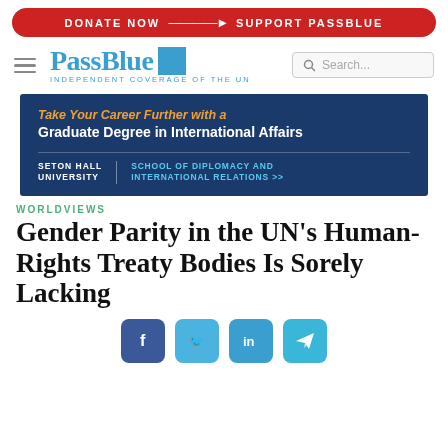DONATE NOW → SUPPORT PASSBLUE
[Figure (logo): PassBlue logo with blue square and tagline INDEPENDENT COVERAGE OF THE UN, alongside hamburger menu and search box]
[Figure (infographic): Advertisement for Seton Hall University School of Diplomacy and International Relations: Take Your Career Further with a Graduate Degree in International Affairs]
WORLDVIEWS
Gender Parity in the UN's Human-Rights Treaty Bodies Is Sorely Lacking
[Figure (infographic): Social sharing buttons: Facebook, Twitter, LinkedIn, Telegram]